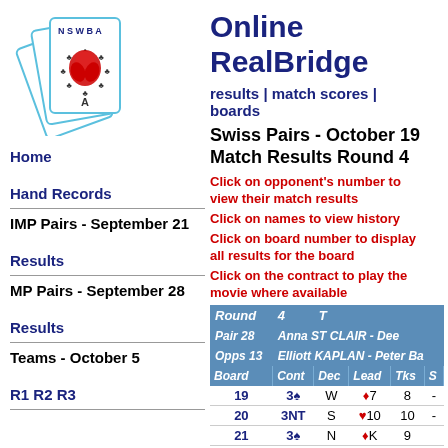[Figure (logo): NSWBA playing cards logo with red waratah flower]
Home
Hand Records
IMP Pairs - September 21
Results
MP Pairs - September 28
Results
Teams - October 5
R1 R2 R3
Online RealBridge
results | match scores | boards
Swiss Pairs - October 19 Match Results Round 4
Click on opponent's number to view their match results
Click on names to view history
Click on board number to display all results for the board
Click on the contract to play the movie where available
| Round | 4 | T |
| --- | --- | --- |
| Pair 28 | Anna ST CLAIR - Dee |  |
| Opps 13 | Elliott KAPLAN - Peter Ba |  |
| Board | Cont | Dec | Lead | Tks | S |
| 19 | 3♠ | W | ♦7 | 8 | - |
| 20 | 3NT | S | ♥10 | 10 | - |
| 21 | 3♠ | N | ♦K | 9 |  |